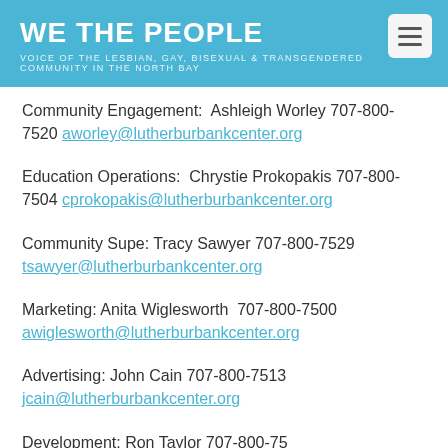WE THE PEOPLE
VOICE OF THE LESBIAN, GAY, BISEXUAL & TRANSGENDERED COMMUNITY IN THE NORTH BAY
Community Engagement:  Ashleigh Worley 707-800-7520 aworley@lutherburbankcenter.org
Education Operations:  Chrystie Prokopakis 707-800-7504 cprokopakis@lutherburbankcenter.org
Community Supe: Tracy Sawyer 707-800-7529 tsawyer@lutherburbankcenter.org
Marketing: Anita Wiglesworth  707-800-7500 awiglesworth@lutherburbankcenter.org
Advertising: John Cain 707-800-7513 jcain@lutherburbankcenter.org
Development: Ron Taylor 707-800-75...